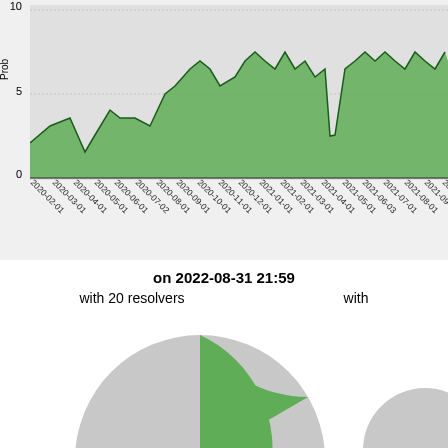[Figure (area-chart): Area chart showing probability values from 2020-02-01 to 2021-10+, with green filled area and dark line, values ranging 0-10+]
on 2022-08-31 21:59
with 20 resolvers
with
[Figure (pie-chart): Pie chart partially visible, showing a green slice (approximately 25-30%) and a large gray slice, cropped at bottom of page]
[Figure (pie-chart): Second pie chart partially visible at right edge, mostly gray, cropped]